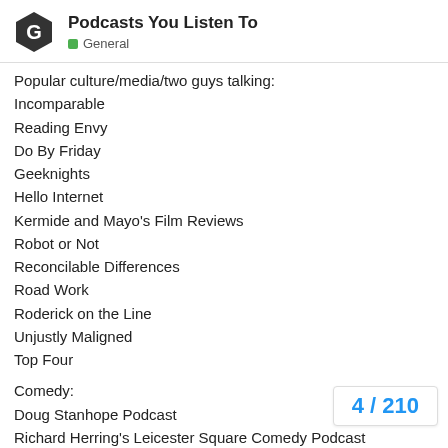Podcasts You Listen To — General
Popular culture/media/two guys talking:
Incomparable
Reading Envy
Do By Friday
Geeknights
Hello Internet
Kermide and Mayo's Film Reviews
Robot or Not
Reconcilable Differences
Road Work
Roderick on the Line
Unjustly Maligned
Top Four
Comedy:
Doug Stanhope Podcast
Richard Herring's Leicester Square Comedy Podcast
The Comedian's Comedian Podcast
Business/design: